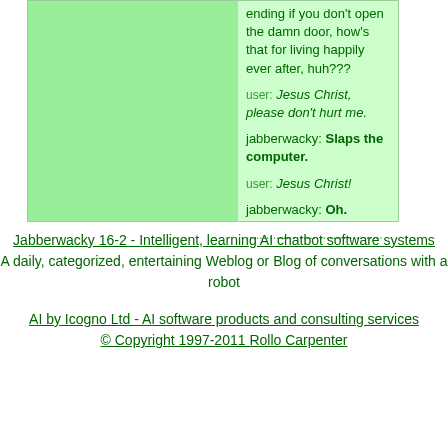ending if you don't open the damn door, how's that for living happily ever after, huh???
user: Jesus Christ, please don't hurt me.
jabberwacky: Slaps the computer.
user: Jesus Christ!
jabberwacky: Oh.
......................................
Jabberwacky 16-2 - Intelligent, learning AI chatbot software systems
A daily, categorized, entertaining Weblog or Blog of conversations with a robot
AI by Icogno Ltd - AI software products and consulting services
© Copyright 1997-2011 Rollo Carpenter